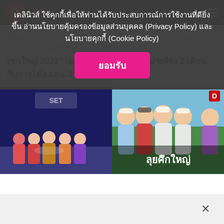เดลินิวส์ ใช้คุกกี้เพื่อให้ท่านได้รับประสบการณ์การใช้งานที่ดียิ่งขึ้น อ่านนโยบายคุ้มครองข้อมูลส่วนบุคคล (Privacy Policy) และ นโยบายคุกกี้ (Cookie Policy)
ยอมรับ
D | เดลินิวส์
พัตต์เดียวจบ "ขนมเจ...ศราฐู" ขณะเพลย์ออฟ สาวไทยขึ้นแชมป์อาชีพแรก "สิงห์ลงแต่ที่สิท เขาใหญ่ 2022" เผย เทิร์นโปรเล่นอาชีพมาเพียง 2 เดือน กับการได้ลงเล่น 3 รายการเท่านั้น
[Figure (photo): Group photo of women at an event with blue background and SET logo]
[Figure (photo): Collage of Thai female golfers with text overlay 'ลุยศึกใหญ่' and D badge]